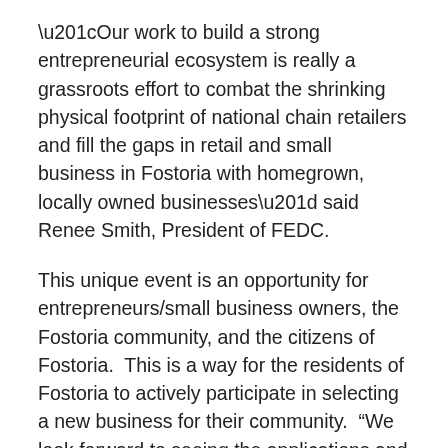“Our work to build a strong entrepreneurial ecosystem is really a grassroots effort to combat the shrinking physical footprint of national chain retailers and fill the gaps in retail and small business in Fostoria with homegrown, locally owned businesses” said Renee Smith, President of FEDC.
This unique event is an opportunity for entrepreneurs/small business owners, the Fostoria community, and the citizens of Fostoria.  This is a way for the residents of Fostoria to actively participate in selecting a new business for their community.  “We look forward to seeing the applications and working through this competition to bring a new and vibrant business to our